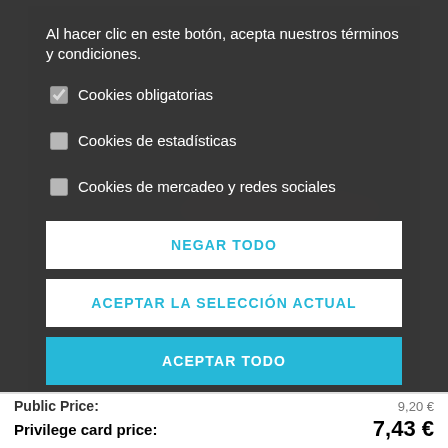[Figure (screenshot): Cookie consent modal overlay on a product page. Dark semi-transparent overlay with checkboxes for cookie preferences and three buttons: NEGAR TODO, ACEPTAR LA SELECCIÓN ACTUAL, and ACEPTAR TODO. Behind the modal, a product image (orange toothbrush/item) is partially visible. At the bottom, pricing information is visible: Public Price and Privilege card price 7,43 €.]
Al hacer clic en este botón, acepta nuestros términos y condiciones.
Cookies obligatorias
Cookies de estadísticas
Cookies de mercadeo y redes sociales
NEGAR TODO
ACEPTAR LA SELECCIÓN ACTUAL
ACEPTAR TODO
Public Price:
Privilege card price:
7,43 €